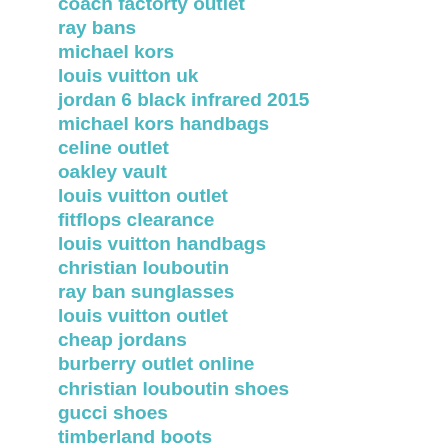coach factorty outlet
ray bans
michael kors
louis vuitton uk
jordan 6 black infrared 2015
michael kors handbags
celine outlet
oakley vault
louis vuitton outlet
fitflops clearance
louis vuitton handbags
christian louboutin
ray ban sunglasses
louis vuitton outlet
cheap jordans
burberry outlet online
christian louboutin shoes
gucci shoes
timberland boots
michael kors outlet
nike air max
coach factory outlet online
coach factory outlet